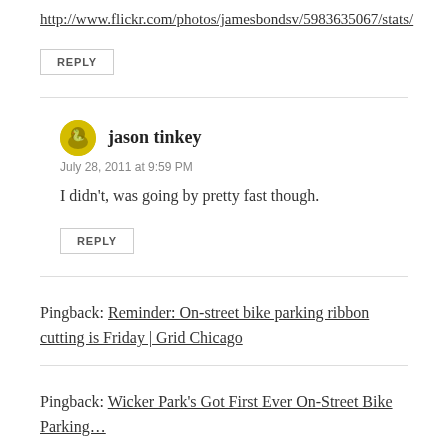http://www.flickr.com/photos/jamesbondsv/5983635067/stats/
REPLY
jason tinkey
July 28, 2011 at 9:59 PM
I didn't, was going by pretty fast though.
REPLY
Pingback: Reminder: On-street bike parking ribbon cutting is Friday | Grid Chicago
Pingback: Wicker Park's Got First Ever On-Street Bike Parking…